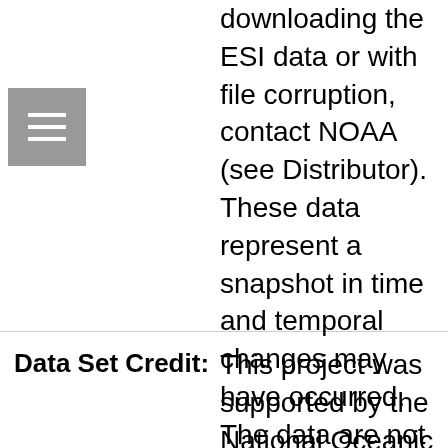[Figure (other): Hamburger menu icon — three horizontal white bars on a grey square background]
downloading the ESI data or with file corruption, contact NOAA (see Distributor). These data represent a snapshot in time and temporal changes may have occurred. The data are not intended to include all biological or human-use resources present in an area; they focus on species and resources particularly sensitive to oiling. In the event of a spill, they should be used for a first assessment only. The data providers are the experts with regard to individual resources. They should be contacted to confirm if more current data exist or if in-depth information is needed about a particular resource.
Data Set Credit:
This project was supported by the National Oceanic and Atmospheric Administration